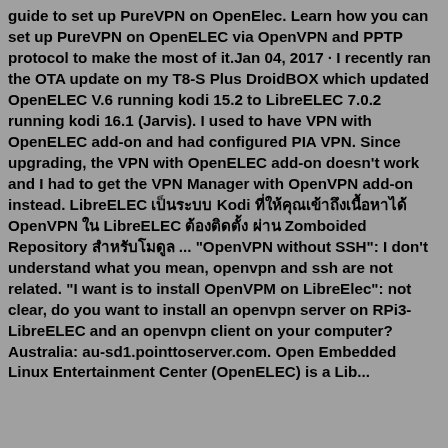guide to set up PureVPN on OpenElec. Learn how you can set up PureVPN on OpenELEC via OpenVPN and PPTP protocol to make the most of it.Jan 04, 2017 · I recently ran the OTA update on my T8-S Plus DroidBOX which updated OpenELEC V.6 running kodi 15.2 to LibreELEC 7.0.2 running kodi 16.1 (Jarvis). I used to have VPN with OpenELEC add-on and had configured PIA VPN. Since upgrading, the VPN with OpenELEC add-on doesn't work and I had to get the VPN Manager with OpenVPN add-on instead. LibreELEC [non-latin chars] Kodi [non-latin chars] OpenVPN [non-latin chars] LibreELEC [non-latin chars] Zomboided Repository [non-latin chars] ... "OpenVPN without SSH": I don't understand what you mean, openvpn and ssh are not related. "I want is to install OpenVPM on LibreElec": not clear, do you want to install an openvpn server on RPi3-LibreELEC and an openvpn client on your computer?Australia: au-sd1.pointtoserver.com. Open Embedded Linux Entertainment Center (OpenELEC) is a Linux-based...